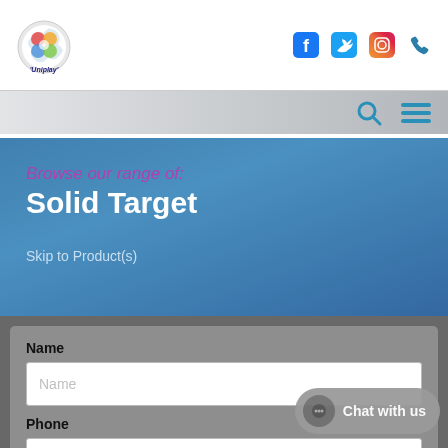[Figure (logo): Uniplay logo - circular colorful puzzle piece logo with text 'Uniplay']
[Figure (screenshot): Website header with social media icons: Facebook, Twitter, Instagram, Phone, and navigation icons (search and menu) on gradient background]
Browse our range of: Solid Target
Skip to Product(s)
Name
Name (placeholder)
Phone
Chat with us